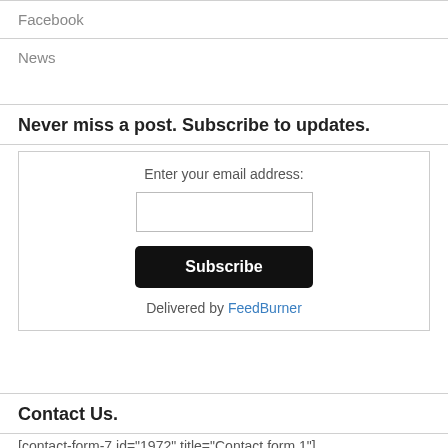Facebook
News
Never miss a post. Subscribe to updates.
[Figure (other): Email subscription form with label 'Enter your email address:', an empty text input field, a black 'Subscribe' button, and text 'Delivered by FeedBurner' with FeedBurner as a link.]
Contact Us.
[contact-form-7 id="1972" title="Contact form 1"]